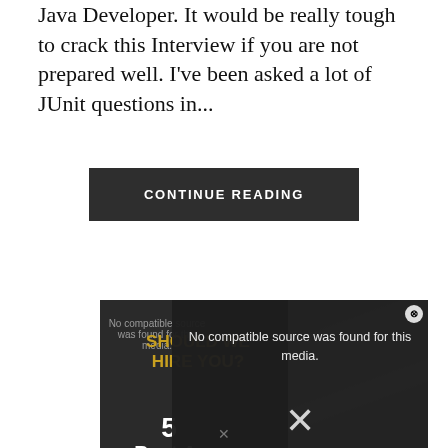Java Developer. It would be really tough to crack this Interview if you are not prepared well. I've been asked a lot of JUnit questions in...
CONTINUE READING
[Figure (screenshot): A video player popup overlay showing a dark background with text 'No compatible source was found for this media.' overlaid on a thumbnail image of a person in a white shirt. Behind the popup is a video thumbnail with text 'SHOULD WE HIRE YOU? 5 Best Answers' in gold and white bold text on a dark background. A close button (X) is visible in the top right of the popup.]
×